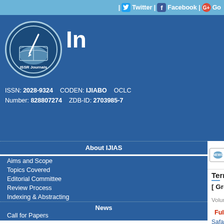| Twitter | Facebook | G+
[Figure (logo): ISSR Journals circular logo with book and pen graphic]
In
ISSN: 2028-9324   CODEN: IJIABO   OCLC Number: 828807274   ZDB-ID: 2703985-7
About IJIAS
Aims and Scope
Topics Covered
Editorial Committee
Review Process
Indexing & Abstracting
News
Call for Papers
Impact Factor
Publication Fee
Submission
Submit your Paper
Manuscript Status
Author Guidelines
Copyright
Downloads
Sample Article
Term pregnancy on septate uterus
[ Grossesse menée à terme sur utérus
Volume 32, Issue 3, April 2021, Pages 421–42
Full-Text PDF     Complete Issue
Safaa Benkhaira1, S. Fajri2, A. El Azery3, Ami
1 Service de Maternité Abderrahim El Harouc
2 Service de Maternité Abderrahim El Harouc
3 Service de Maternité El Harou